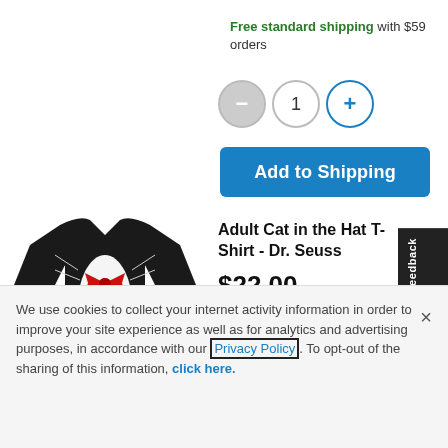Free standard shipping with $59 orders
[Figure (other): Quantity selector with minus button, value 1, and plus button]
Add to Shipping
[Figure (photo): Black t-shirt with Cat in the Hat design featuring red bow tie and white fur graphic]
Adult Cat in the Hat T-Shirt - Dr. Seuss
$22.00
[Figure (other): 4 out of 5 stars rating]
We use cookies to collect your internet activity information in order to improve your site experience as well as for analytics and advertising purposes, in accordance with our Privacy Policy. To opt-out of the sharing of this information, click here.